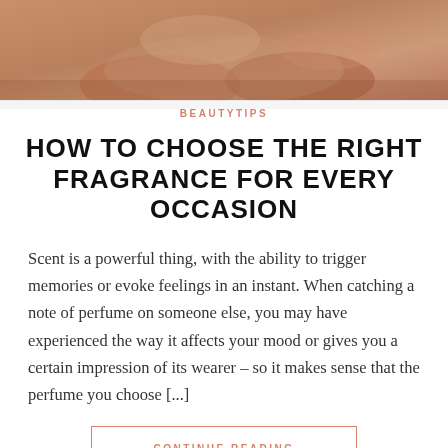[Figure (photo): Close-up photo of a person's wrists/hands with skin texture visible, warm tan/brown tones, cropped at top of page]
BEAUTYTIPS
HOW TO CHOOSE THE RIGHT FRAGRANCE FOR EVERY OCCASION
Scent is a powerful thing, with the ability to trigger memories or evoke feelings in an instant. When catching a note of perfume on someone else, you may have experienced the way it affects your mood or gives you a certain impression of its wearer – so it makes sense that the perfume you choose [...]
CONTINUE READING